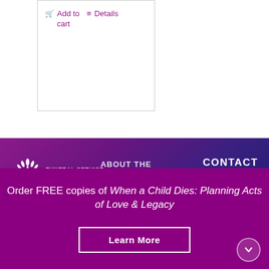Add to cart | Details
[Figure (logo): Funeral Service Foundation logo with white flower/wheat stalk icon and text FUNERAL SERVICE FOUNDATION]
ABOUT THE FOUNDATION
CONTACT US
Order FREE copies of When a Child Dies: Planning Acts of Love & Legacy
Learn More